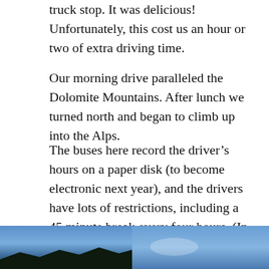truck stop. It was delicious! Unfortunately, this cost us an hour or two of extra driving time.
Our morning drive paralleled the Dolomite Mountains. After lunch we turned north and began to climb up into the Alps.
The buses here record the driver’s hours on a paper disk (to become electronic next year), and the drivers have lots of restrictions, including a 45 minute break every four hours. (In fact, tomorrow our driver isn’t allowed to drive at all, hence our two-day stay in Lucerne.)
[Figure (photo): Two outdoor photos side by side showing blue sky and dark tree silhouettes on the left, and blue sky on the right.]